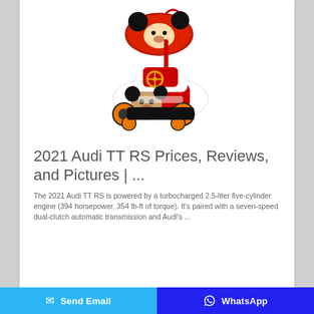[Figure (photo): Mickey Mouse themed children's ride-on toy car with red canopy featuring Mickey Mouse ears logo on top, a yellow steering wheel, black and red body, orange wheels, and a Mickey Mouse face on the front.]
2021 Audi TT RS Prices, Reviews, and Pictures | ...
The 2021 Audi TT RS is powered by a turbocharged 2.5-liter five-cylinder engine (394 horsepower, 354 lb-ft of torque). It's paired with a seven-speed dual-clutch automatic transmission and Audi's ...